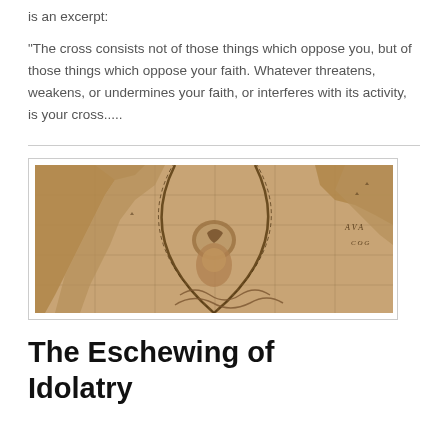is an excerpt:
"The cross consists not of those things which oppose you, but of those things which oppose your faith. Whatever threatens, weakens, or undermines your faith, or interferes with its activity, is your cross.....
[Figure (map): Sepia-toned antique map illustration showing old-world cartographic style with decorative compass/figure element in center, grid lines, and landmasses]
The Eschewing of Idolatry